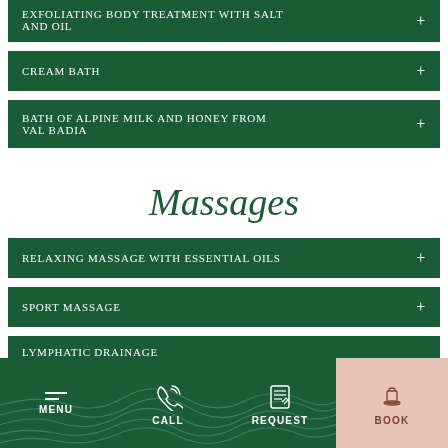Exfoliating body treatment with salt and oil
Cream bath
Bath of Alpine milk and honey from Val Badia
Massages
Relaxing massage with essential oils
Sport massage
Lymphatic drainage
MENU | CALL | REQUEST | BOOK